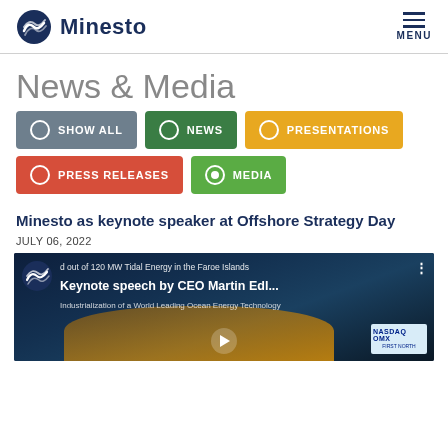Minesto — MENU
News & Media
SHOW ALL
NEWS
PRESENTATIONS
PRESS RELEASES
MEDIA
Minesto as keynote speaker at Offshore Strategy Day
JULY 06, 2022
[Figure (screenshot): Video thumbnail showing Keynote speech by CEO Martin Edl... with Minesto logo, text 'd out of 120 MW Tidal Energy in the Faroe Islands' and 'Industrialization of a World Leading Ocean Energy Technology', NASDAQ OMX logo badge, and play button overlay]